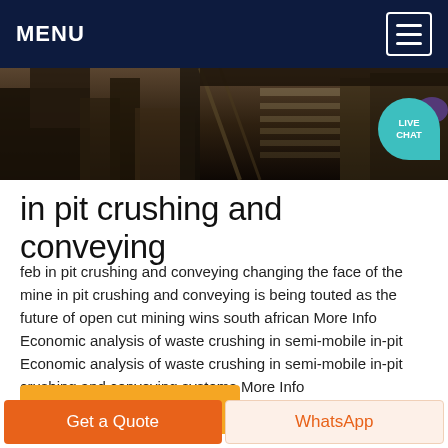MENU
[Figure (photo): Industrial mining equipment — in-pit crushing machinery photographed in dark industrial setting]
in pit crushing and conveying
feb in pit crushing and conveying changing the face of the mine in pit crushing and conveying is being touted as the future of open cut mining wins south african More Info Economic analysis of waste crushing in semi-mobile in-pit Economic analysis of waste crushing in semi-mobile in-pit crushing and conveying systems More Info
Get price
Get a Quote
WhatsApp